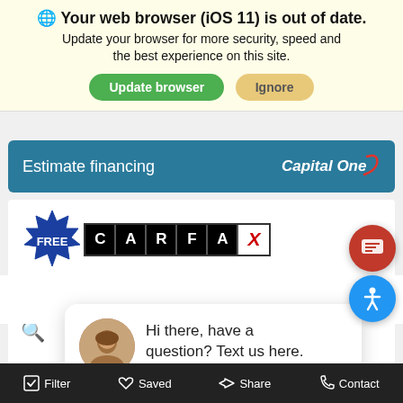🌐 Your web browser (iOS 11) is out of date. Update your browser for more security, speed and the best experience on this site.
Update browser | Ignore
Estimate financing
[Figure (logo): Capital One logo in white italic text with red swoosh accent]
[Figure (logo): FREE starburst badge followed by CARFAX logo with block letters]
close
Navigation System
Hi there, have a question? Text us here.
Filter  Saved  Share  Contact